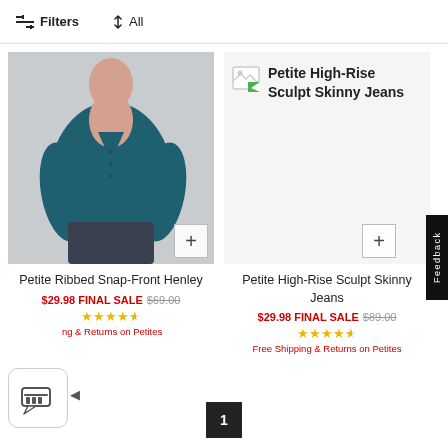Filters  ↑↓ All
[Figure (photo): Woman wearing teal ribbed snap-front henley top with dark jeans, seated pose]
Petite Ribbed Snap-Front Henley
$29.98 FINAL SALE $69.00
★★★★☆
Free Shipping & Returns on Petites
[Figure (photo): Broken/loading image placeholder for Petite High-Rise Sculpt Skinny Jeans]
Petite High-Rise Sculpt Skinny Jeans
$29.98 FINAL SALE $89.00
★★★★☆
Free Shipping & Returns on Petites
1